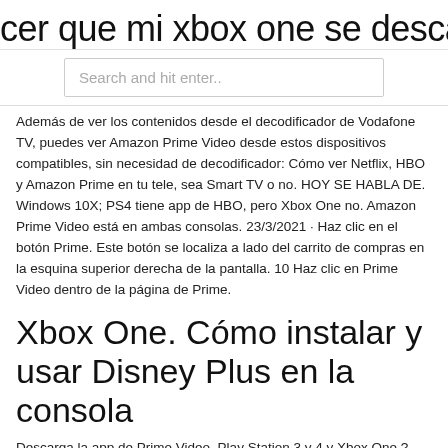cer que mi xbox one se descargue m
Search and hit enter..
Además de ver los contenidos desde el decodificador de Vodafone TV, puedes ver Amazon Prime Video desde estos dispositivos compatibles, sin necesidad de decodificador: Cómo ver Netflix, HBO y Amazon Prime en tu tele, sea Smart TV o no. HOY SE HABLA DE. Windows 10X; PS4 tiene app de HBO, pero Xbox One no. Amazon Prime Video está en ambas consolas. 23/3/2021 · Haz clic en el botón Prime. Este botón se localiza a lado del carrito de compras en la esquina superior derecha de la pantalla. 10 Haz clic en Prime Video dentro de la página de Prime.
Xbox One. Cómo instalar y usar Disney Plus en la consola
Descarga la app de Prime Video. Play Station 3 y 4 y Xbox One ? Ver al mismo tiempo hasta en 3 dispositivos.